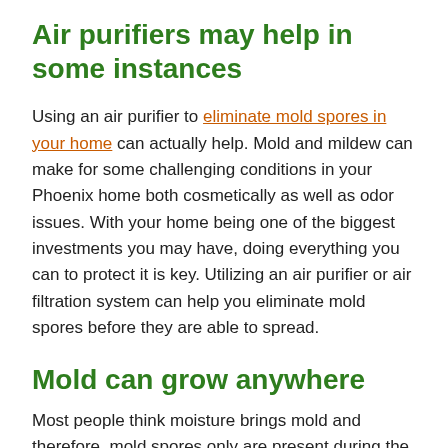Air purifiers may help in some instances
Using an air purifier to eliminate mold spores in your home can actually help. Mold and mildew can make for some challenging conditions in your Phoenix home both cosmetically as well as odor issues. With your home being one of the biggest investments you may have, doing everything you can to protect it is key. Utilizing an air purifier or air filtration system can help you eliminate mold spores before they are able to spread.
Mold can grow anywhere
Most people think moisture brings mold and therefore, mold spores only are present during the monsoon season. However, Microscopic mold spores exist almost everywhere, outdoors, and indoors, making it impossible to remove all mold from a home. Mold spores easily reproduce when they float on the currents of air. If you see a spot in your home that has mold growth, you can be sure that mold spores are constantly attempting to travel those air currents in order to